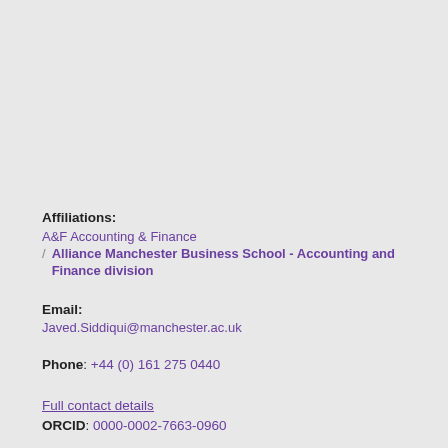Affiliations:
A&F Accounting & Finance
/ Alliance Manchester Business School - Accounting and Finance division
Email:
Javed.Siddiqui@manchester.ac.uk
Phone: +44 (0) 161 275 0440
Full contact details
ORCID: 0000-0002-7663-0960